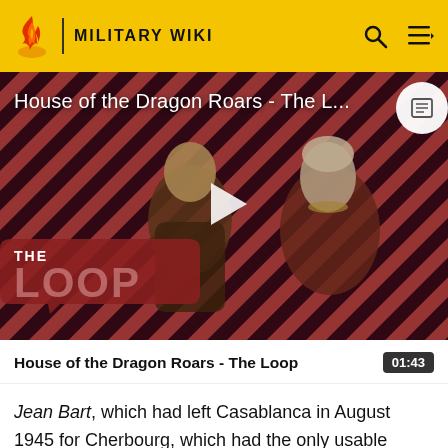MILITARY WIKI
[Figure (screenshot): Video thumbnail for 'House of the Dragon Roars - The Loop' showing two characters in fantasy armor/costume against a red diagonal stripe background, with a play button overlay and 'THE LOOP' branding in the lower left.]
House of the Dragon Roars - The Loop
01:43
Jean Bart, which had left Casablanca in August 1945 for Cherbourg, which had the only usable graving dock on the French Atlantic coast at the time, was moved to the Brest